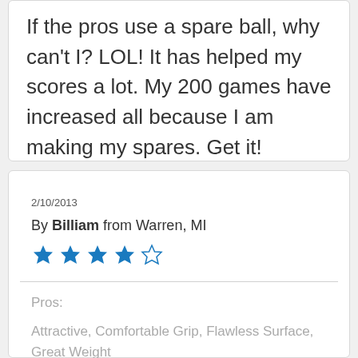If the pros use a spare ball, why can't I? LOL! It has helped my scores a lot. My 200 games have increased all because I am making my spares. Get it!
2/10/2013
By Billiam from Warren, MI
[Figure (other): 4 out of 5 stars rating shown as blue filled stars and one empty star]
Pros:
Attractive, Comfortable Grip, Flawless Surface, Great Weight